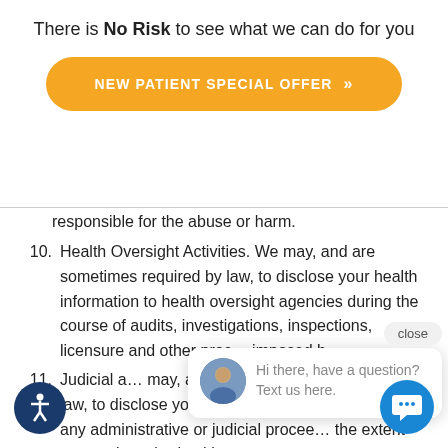There is No Risk to see what we can do for you
[Figure (infographic): Orange rounded-rectangle button labeled NEW PATIENT SPECIAL OFFER with double chevron arrows]
responsible for the abuse or harm.
10. Health Oversight Activities. We may, and are sometimes required by law, to disclose your health information to health oversight agencies during the course of audits, investigations, inspections, licensure and other proc... imposed b...
11. Judicial a... may, and are sometimes required by law, to disclose your health information in the c... of any administrative or judicial procee... the extent expressly authorized by a court or
[Figure (infographic): Chat widget overlay with close button, avatar photo of man, and message: Hi there, have a question? Text us here.]
[Figure (infographic): Accessibility icon button - dark blue circle with person icon]
[Figure (infographic): Chat bubble button - blue circle with speech bubble icon]